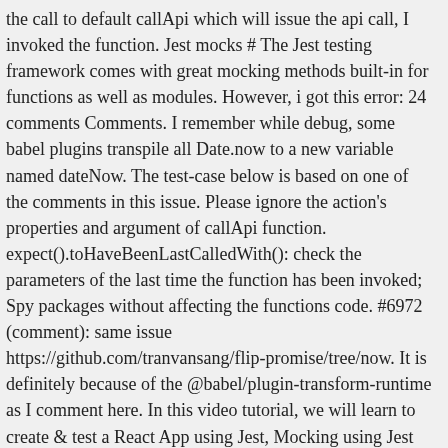the call to default callApi which will issue the api call, I invoked the function. Jest mocks # The Jest testing framework comes with great mocking methods built-in for functions as well as modules. However, i got this error: 24 comments Comments. I remember while debug, some babel plugins transpile all Date.now to a new variable named dateNow. The test-case below is based on one of the comments in this issue. Please ignore the action's properties and argument of callApi function. expect().toHaveBeenLastCalledWith(): check the parameters of the last time the function has been invoked; Spy packages without affecting the functions code. #6972 (comment): same issue https://github.com/tranvansang/flip-promise/tree/now. It is definitely because of the @babel/plugin-transform-runtime as I comment here. In this video tutorial, we will learn to create & test a React App using Jest, Mocking using Jest and Spying functions using Jest spyOn command. A Complete Introduction of Jest was given in our previous tutorial. We'll occasionally send you account related emails. We're using the jest.spyOn() function, which has the following syntax: